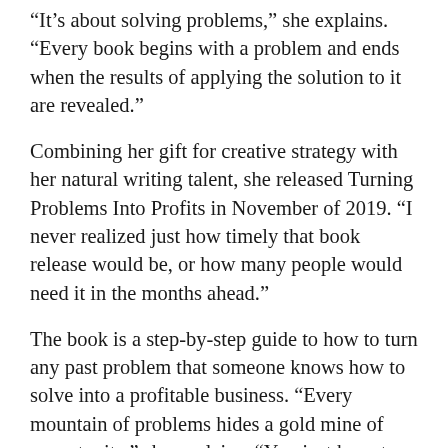“It’s about solving problems,” she explains. “Every book begins with a problem and ends when the results of applying the solution to it are revealed.”
Combining her gift for creative strategy with her natural writing talent, she released Turning Problems Into Profits in November of 2019. “I never realized just how timely that book release would be, or how many people would need it in the months ahead.”
The book is a step-by-step guide to how to turn any past problem that someone knows how to solve into a profitable business. “Every mountain of problems hides a gold mine of opportunity,” she explains. “You just have to know how to evaluate it, mine it, refine it, package it, and present it to the right market for it to shine.”